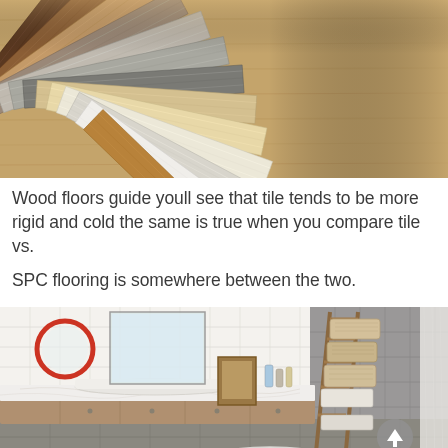[Figure (photo): Fan-arranged flooring sample boards showing various wood-look finishes in colors ranging from dark walnut to light gray and cream, spread out on a wood surface background.]
Wood floors guide youll see that tile tends to be more rigid and coldthe same is true when you compare tile vs.

SPC flooring is somewhere between the two.
[Figure (photo): Modern bathroom interior with a long white marble countertop and wood vanity cabinet, a red circular mirror, a rectangular framed mirror, a ladder shelf with wicker baskets, green plant, and a white freestanding bathtub partially visible. A circular back-to-top navigation button is visible on the right.]